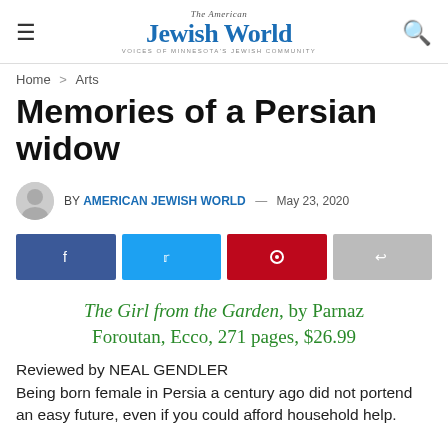The American Jewish World — VOICES OF MINNESOTA'S JEWISH COMMUNITY
Home > Arts
Memories of a Persian widow
BY AMERICAN JEWISH WORLD — May 23, 2020
[Figure (infographic): Social share buttons: Facebook, Twitter, Pinterest, Share]
The Girl from the Garden, by Parnaz Foroutan, Ecco, 271 pages, $26.99
Reviewed by NEAL GENDLER
Being born female in Persia a century ago did not portend an easy future, even if you could afford household help.